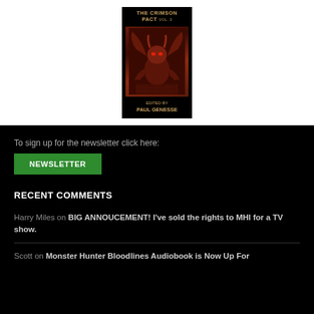[Figure (illustration): Book cover of 'The Crimson Pact Vol. 3' edited by Paul Genesse, showing a demonic creature with wings on a dark background]
To sign up for the newsletter click here:
NEWSLETTER
RECENT COMMENTS
Harry Miles on BIG ANNOUCEMENT! I've sold the rights to MHI for a TV show.
Scott on Monster Hunter Bloodlines Audiobook is Now Up For Pre-order Audible